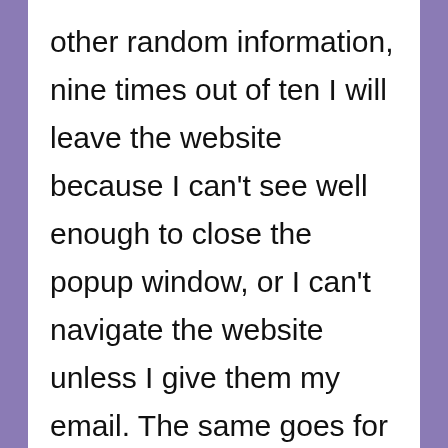other random information, nine times out of ten I will leave the website because I can't see well enough to close the popup window, or I can't navigate the website unless I give them my email. The same goes for random social media popups.